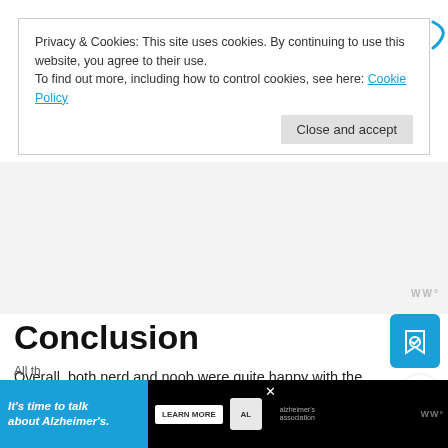Privacy & Cookies: This site uses cookies. By continuing to use this website, you agree to their use.
To find out more, including how to control cookies, see here: Cookie Policy
Close and accept
Conclusion
Overall, both nerd and noob were quite happy with the BlackBerry KEY2, especially it's feel in the hand and battery life.
All th…
[Figure (infographic): Alzheimer's Association advertisement: 'It's time to talk about Alzheimer's.' with LEARN MORE button and logo]